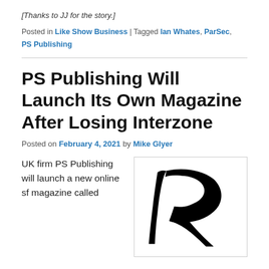[Thanks to JJ for the story.]
Posted in Like Show Business | Tagged Ian Whates, ParSec, PS Publishing
PS Publishing Will Launch Its Own Magazine After Losing Interzone
Posted on February 4, 2021 by Mike Glyer
UK firm PS Publishing will launch a new online sf magazine called
[Figure (logo): Black stylized letter P logo mark for PS Publishing on white background]